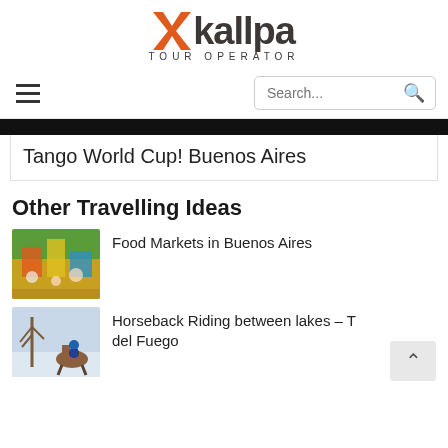[Figure (logo): Kallpa Tour Operator logo with orange X icon and dark text]
Tango World Cup! Buenos Aires
Other Travelling Ideas
[Figure (photo): Colorful food market crowd in Buenos Aires]
Food Markets in Buenos Aires
[Figure (photo): Person on horseback in snowy landscape]
Horseback Riding between lakes – T del Fuego